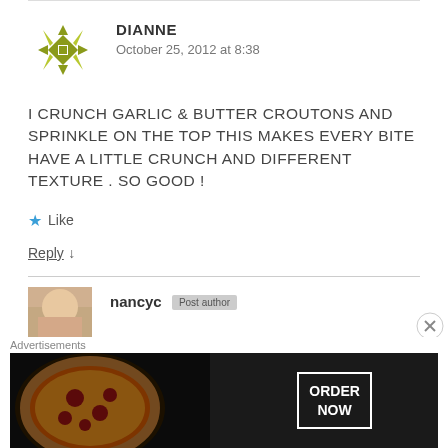[Figure (illustration): Green/olive colored geometric snowflake/quilt pattern avatar for user DIANNE]
DIANNE
October 25, 2012 at 8:38
I CRUNCH GARLIC & BUTTER CROUTONS AND SPRINKLE ON THE TOP THIS MAKES EVERY BITE HAVE A LITTLE CRUNCH AND DIFFERENT TEXTURE . SO GOOD !
★ Like
Reply ↓
[Figure (photo): Thumbnail photo avatar for user nancyc]
nancyc  Post author
Advertisements
[Figure (screenshot): Seamless pizza delivery advertisement banner with pizza photo, Seamless logo, and ORDER NOW button]